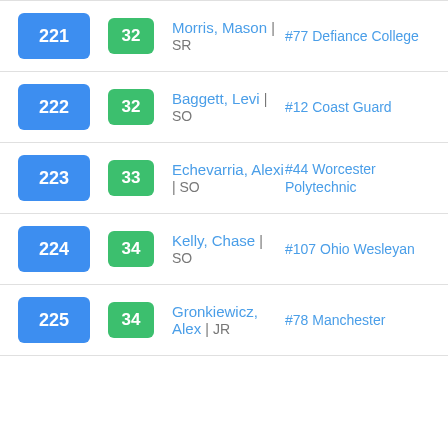221 | 32 | Morris, Mason | SR | #77 Defiance College
222 | 32 | Baggett, Levi | SO | #12 Coast Guard
223 | 33 | Echevarria, Alexi | SO | #44 Worcester Polytechnic
224 | 34 | Kelly, Chase | SO | #107 Ohio Wesleyan
225 | 34 | Gronkiewicz, Alex | JR | #78 Manchester